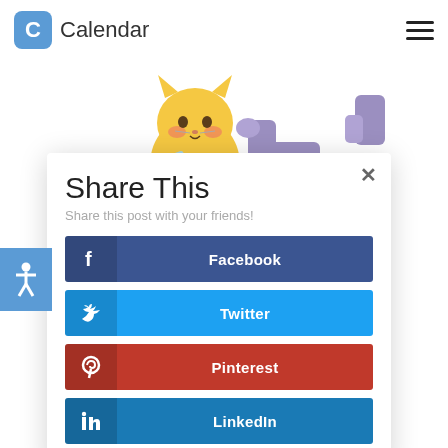Calendar
[Figure (illustration): Cartoon illustration of an orange cat character with purple robotic arm/pipe elements, set against a white background]
Share This
Share this post with your friends!
Facebook
Twitter
Pinterest
LinkedIn
This website uses cookies to improve your experience. We'll assume you're ok with this, but you can opt-out if you wish.